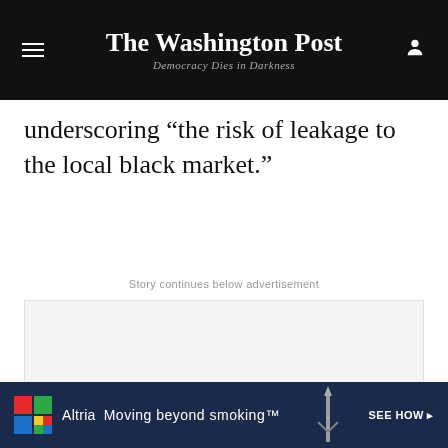The Washington Post
Democracy Dies in Darkness
underscoring “the risk of leakage to the local black market.”
Story continues below advertisement
[Figure (other): Advertisement placeholder (gray box)]
[Figure (other): Altria 'Moving beyond smoking' advertisement banner with colorful grid logo, rocket image, and 'SEE HOW' CTA]